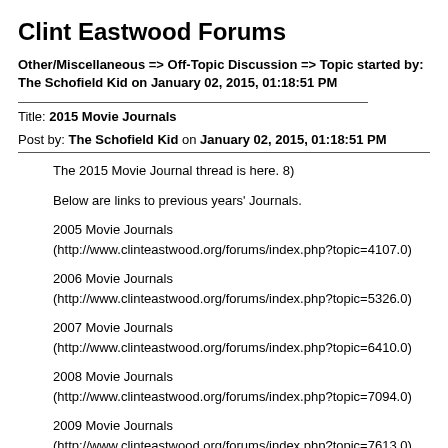Clint Eastwood Forums
Other/Miscellaneous => Off-Topic Discussion => Topic started by: The Schofield Kid on January 02, 2015, 01:18:51 PM
Title: 2015 Movie Journals
Post by: The Schofield Kid on January 02, 2015, 01:18:51 PM
The 2015 Movie Journal thread is here. 8)
Below are links to previous years' Journals.
2005 Movie Journals
(http://www.clinteastwood.org/forums/index.php?topic=4107.0)
2006 Movie Journals
(http://www.clinteastwood.org/forums/index.php?topic=5326.0)
2007 Movie Journals
(http://www.clinteastwood.org/forums/index.php?topic=6410.0)
2008 Movie Journals
(http://www.clinteastwood.org/forums/index.php?topic=7094.0)
2009 Movie Journals
(http://www.clinteastwood.org/forums/index.php?topic=7613.0)